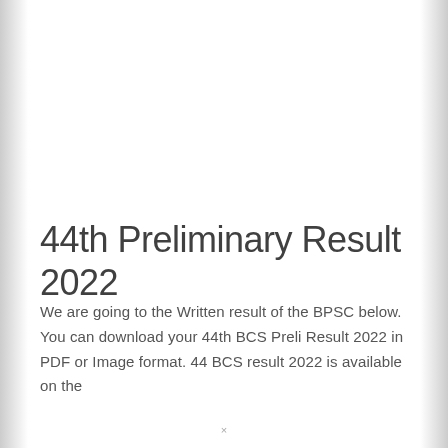44th Preliminary Result 2022
We are going to the Written result of the BPSC below. You can download your 44th BCS Preli Result 2022 in PDF or Image format. 44 BCS result 2022 is available on the